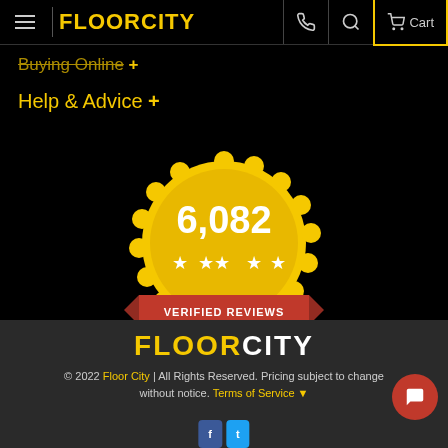FLOORCITY — Cart
Buying Online +
Help & Advice +
[Figure (infographic): Gold badge with scalloped edge showing '6,082' in large white text, five white stars below, and a red ribbon banner reading 'VERIFIED REVIEWS'. Below the badge: 'Powered by Stamped.io' in white text.]
FLOORCITY © 2022 Floor City | All Rights Reserved. Pricing subject to change without notice. Terms of Service